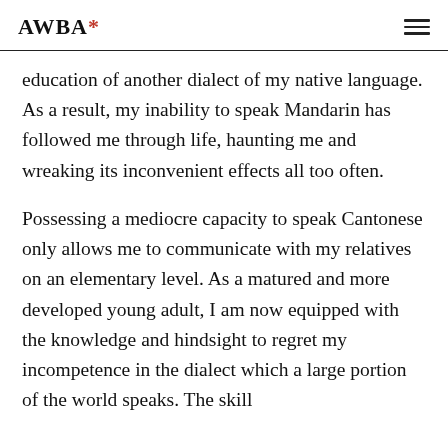AWBA*
education of another dialect of my native language. As a result, my inability to speak Mandarin has followed me through life, haunting me and wreaking its inconvenient effects all too often.
Possessing a mediocre capacity to speak Cantonese only allows me to communicate with my relatives on an elementary level. As a matured and more developed young adult, I am now equipped with the knowledge and hindsight to regret my incompetence in the dialect which a large portion of the world speaks. The skill